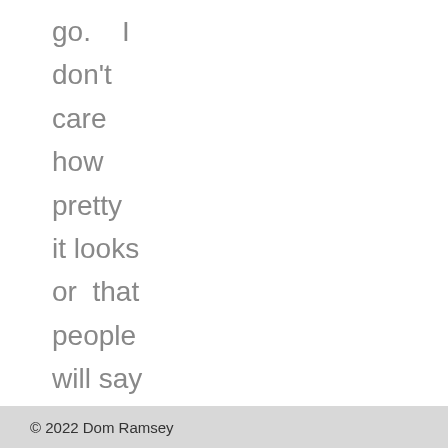go.   I don't care how pretty it looks or  that people will say “Ooooh” and “Aaaaah” when  I
© 2022 Dom Ramsey